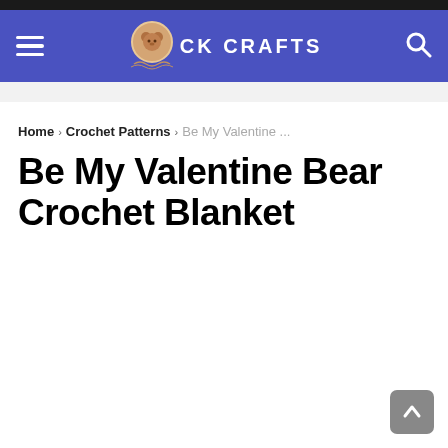CK CRAFTS
Home › Crochet Patterns › Be My Valentine ...
Be My Valentine Bear Crochet Blanket